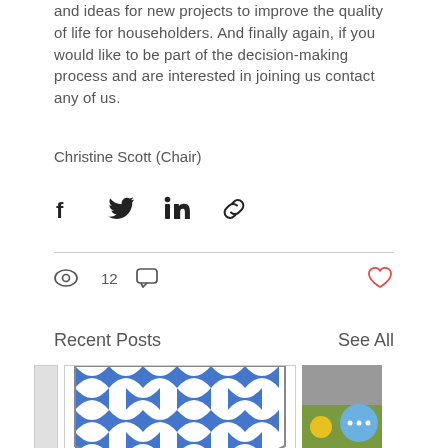and ideas for new projects to improve the quality of life for householders. And finally again, if you would like to be part of the decision-making process and are interested in joining us contact any of us.
Christine Scott (Chair)
[Figure (infographic): Social sharing icons: Facebook, Twitter, LinkedIn, and a chain/link icon]
[Figure (infographic): Stats row: eye/views icon with count 12, comment bubble icon, and a red heart/like icon on the right]
Recent Posts
See All
[Figure (photo): A blue and white heraldic shield/coat of arms with vair pattern (alternating blue and white bell/cup shapes in a checkerboard pattern). Partially visible on the right is a nature/flower photo.]